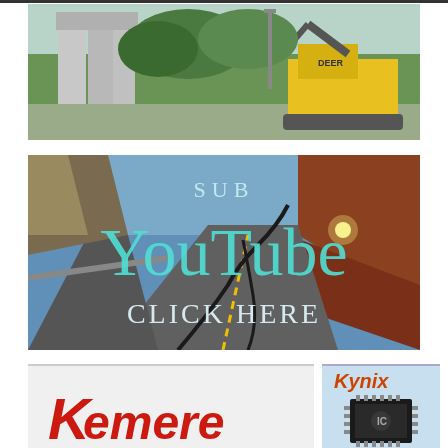[Figure (photo): Construction site with concrete pillars/gateway structure on the left and a yellow John Deere excavator on the right, with trees in background]
[Figure (infographic): Cracked road/earthquake damaged highway with 'SUB' text at top center and 'YouTube' in large cyan letters and 'CLICK HERE' in white letters at bottom, overlaid on photo of damaged road]
[Figure (photo): Left portion of a Kynix/Kememe advertisement - partial red logo text visible at bottom]
[Figure (photo): Right portion showing Kynix logo in orange/red italic text and an integrated circuit/chip image below]